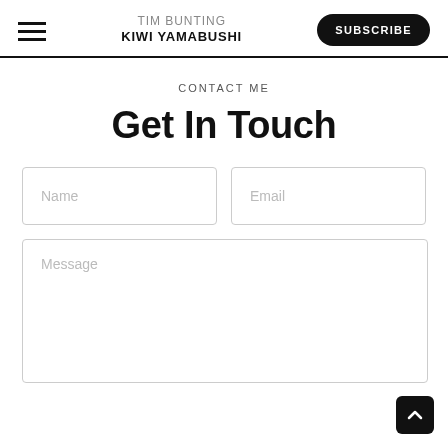TIM BUNTING KIWI YAMABUSHI | SUBSCRIBE
CONTACT ME
Get In Touch
Name
Email
Message